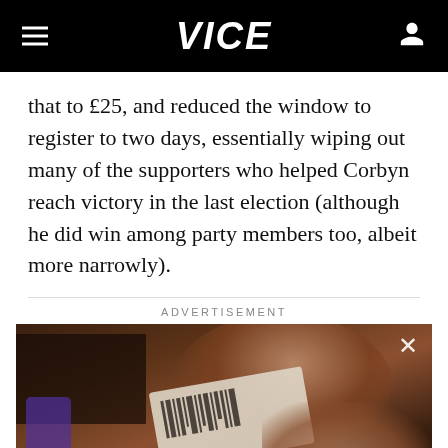VICE
that to £25, and reduced the window to register to two days, essentially wiping out many of the supporters who helped Corbyn reach victory in the last election (although he did win among party members too, albeit more narrowly).
ADVERTISEMENT
[Figure (screenshot): Video advertisement showing a person holding a barcode/receipt card, with a countdown timer showing '3', a close button (X), subtitle text 'of payment online', and a mute button in the bottom right.]